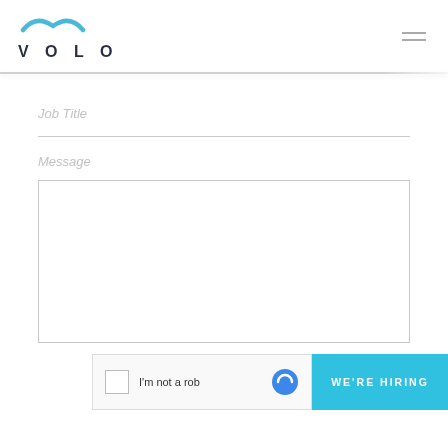[Figure (logo): Volo logo with stylized seagull wings above the text VOLO in dark navy letters]
Job Title
Message
[Figure (other): Empty textarea input box with border]
[Figure (other): reCAPTCHA widget with checkbox and text I'm not a robot]
[Figure (other): WE'RE HIRING banner in cyan/light blue color]